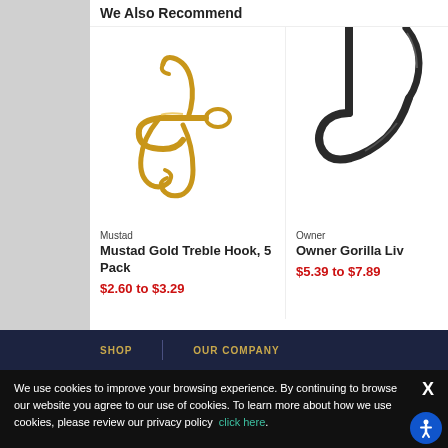We Also Recommend
[Figure (photo): Gold treble fishing hook on white background — Mustad Gold Treble Hook]
Mustad
Mustad Gold Treble Hook, 5 Pack
$2.60 to $3.29
[Figure (photo): Black single fishing hook on white background — Owner Gorilla Live Bait hook, partially visible]
Owner
Owner Gorilla Liv
$5.39 to $7.89
SHOP  |  OUR COMPANY
We use cookies to improve your browsing experience. By continuing to browse our website you agree to our use of cookies. To learn more about how we use cookies, please review our privacy policy click here.